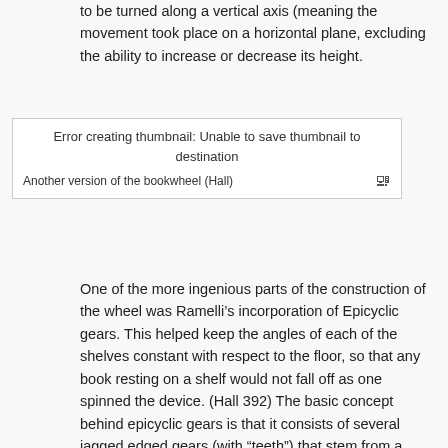to be turned along a vertical axis (meaning the movement took place on a horizontal plane, excluding the ability to increase or decrease its height.
[Figure (other): Error box indicating failed thumbnail creation with caption 'Another version of the bookwheel (Hall)']
Another version of the bookwheel (Hall)
One of the more ingenious parts of the construction of the wheel was Ramelli's incorporation of Epicyclic gears. This helped keep the angles of each of the shelves constant with respect to the floor, so that any book resting on a shelf would not fall off as one spinned the device. (Hall 392) The basic concept behind epicyclic gears is that it consists of several jagged edged gears (with “teeth”) that stem from a central position. The gears vary in radius. The motions of the gears can be described by a caption written for a prototype of a model of Dante Gnudi in folio 112r of Codex Madrid I.: